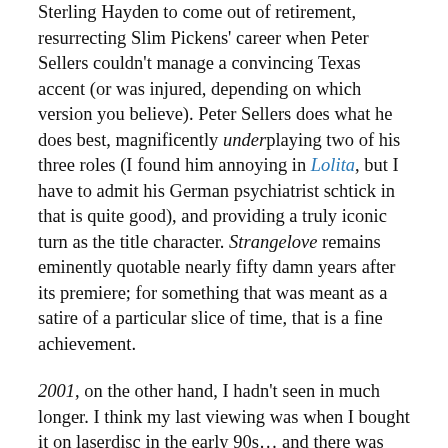Sterling Hayden to come out of retirement, resurrecting Slim Pickens' career when Peter Sellers couldn't manage a convincing Texas accent (or was injured, depending on which version you believe). Peter Sellers does what he does best, magnificently underplaying two of his three roles (I found him annoying in Lolita, but I have to admit his German psychiatrist schtick in that is quite good), and providing a truly iconic turn as the title character. Strangelove remains eminently quotable nearly fifty damn years after its premiere; for something that was meant as a satire of a particular slice of time, that is a fine achievement.

2001, on the other hand, I hadn't seen in much longer. I think my last viewing was when I bought it on laserdisc in the early 90s… and there was damage to the film elements during the “trip” sequence! Oh, it was the best of